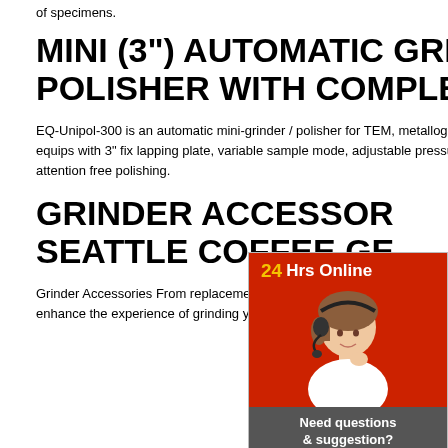of specimens.
MINI (3") AUTOMATIC GRINDER/ POLISHER WITH COMPLETE ...
EQ-Unipol-300 is an automatic mini-grinder / polisher for TEM, metallographic samples in a single mount. The equips with 3" fix lapping plate, variable sample mode, adjustable pressure load and selectable time switch for attention free polishing.
GRINDER ACCESSORIES SEATTLE COFFEE GE...
Grinder Accessories From replacement burrs to hopper, we have a a great selection of grinder accessories to enhance the experience of grinding your coffee be...
[Figure (photo): Chat widget with 24Hrs Online header in red, photo of woman with headset on red background, Need questions & suggestion? text box, Chat Now button, Enquiry link, limingjlmofen link]